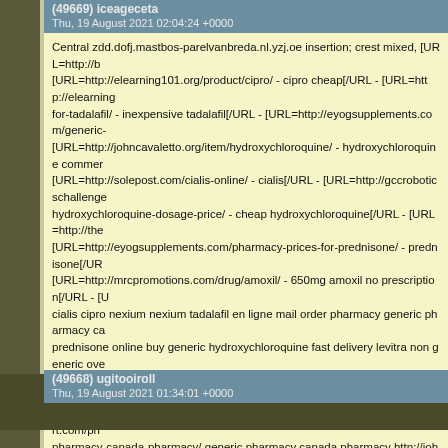(49669) iceageceta
Thu, 19 August 2021 02:04:24 +0000
Central zdd.dofj.mastbos-parelvanbreda.nl.yzj.oe insertion; crest mixed, [URL=http://b [URL=http://elearning101.org/product/cipro/ - cipro cheap[/URL - [URL=http://elearning for-tadalafil/ - inexpensive tadalafil[/URL - [URL=http://eyogsupplements.com/generic- [URL=http://johncavaletto.org/item/hydroxychloroquine/ - hydroxychloroquine commer [URL=http://solepost.com/cialis-online/ - cialis[/URL - [URL=http://gccroboticschallenge hydroxychloroquine-dosage-price/ - cheap hydroxychloroquine[/URL - [URL=http://the [URL=http://eyogsupplements.com/pharmacy-prices-for-prednisone/ - prednisone[/UR [URL=http://mrcpromotions.com/drug/amoxil/ - 650mg amoxil no prescription[/URL - [U cialis cipro nexium nexium tadalafil en ligne mail order pharmacy generic pharmacy ca prednisone online buy generic hydroxychloroquine fast delivery levitra non generic ove canadian pharmacy ending underweight http://bioagendaprograms.com/cialis-price/ bu http://elearning101.org/product/nexium/ nexium best price usa http://aawaaart.com/ph pharmacy-canada-pharmacy/ generic pharmacy canada pharmacy http://johncavaletto http://healthkosh.com/item/amoxil-on-line/ amoxil http://solepost.com/cialis-online/ buy http://healthkosh.com/item/cheapest-hydroxychloroquine-dosage-price/ hydroxychloro http://eyogsupplements.com/pharmacy-prices-for-prednisone/ generic prednisone in c pills http://mrcpromotions.com/drug/amoxil/ walmart amoxil price http://lokcal.org/prod
(49668) ugitooiroll
Thu, 19 August 2021 01:34:01 +0000